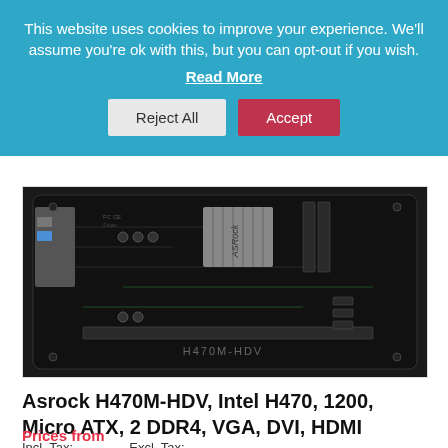This website uses cookies to improve your experience. We'll assume you're ok with this, but you can opt-out if you wish.
Read More
Reject All
Accept
[Figure (photo): Photo of an ASRock H470M-HDV motherboard, a black PCB with heatsink, connectors, and label reading H470M-HDV]
Asrock H470M-HDV, Intel H470, 1200, Micro ATX, 2 DDR4, VGA, DVI, HDMI
Prices from
Incl. Tax:
Excl. Tax:
£62.79
£52.33